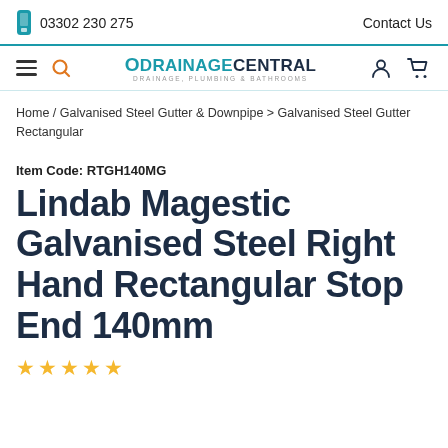03302 230 275   Contact Us
[Figure (logo): ODrainageCentral logo with tagline DRAINAGE, PLUMBING & BATHROOMS]
Home / Galvanised Steel Gutter & Downpipe > Galvanised Steel Gutter Rectangular
Item Code: RTGH140MG
Lindab Magestic Galvanised Steel Right Hand Rectangular Stop End 140mm
★★★★★